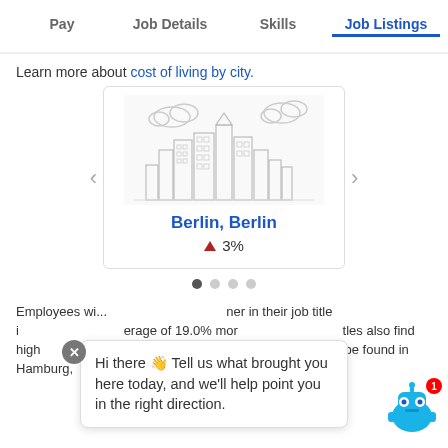Pay  Job Details  Skills  Job Listings
Learn more about cost of living by city.
[Figure (illustration): City carousel card showing a skyline illustration with Berlin, Berlin label and 3% increase indicator]
Employees with ... higher in their job title in ... average of 19.0% more ... titles also find high... (2... more). The lowest salaries can be found in Hamburg,
Hi there 👋 Tell us what brought you here today, and we'll help point you in the right direction.